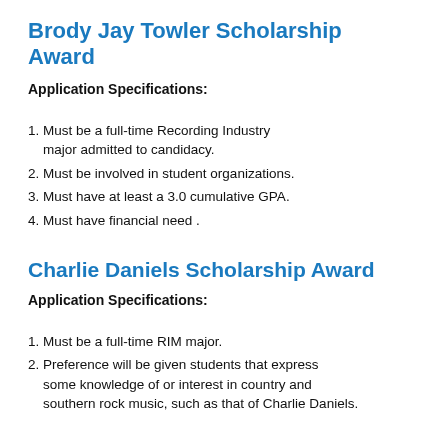Brody Jay Towler Scholarship Award
Application Specifications:
1. Must be a full-time Recording Industry major admitted to candidacy.
2. Must be involved in student organizations.
3. Must have at least a 3.0 cumulative GPA.
4. Must have financial need .
Charlie Daniels Scholarship Award
Application Specifications:
1. Must be a full-time RIM major.
2. Preference will be given students that express some knowledge of or interest in country and southern rock music, such as that of Charlie Daniels.